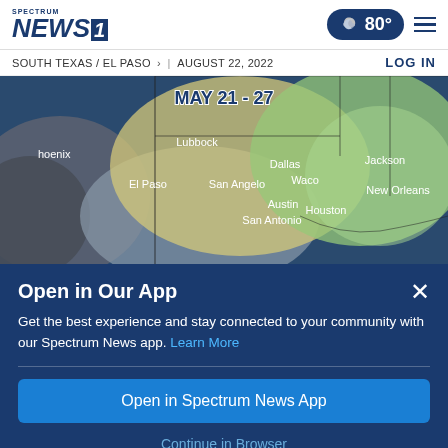Spectrum NEWS1 | 80° | SOUTH TEXAS / EL PASO > | AUGUST 22, 2022 | LOG IN
[Figure (map): Weather map showing the south-central United States for May 21-27, with colored regions (green, yellow, gray) indicating weather conditions. Cities labeled: Phoenix, Lubbock, Dallas, Jackson, El Paso, San Angelo, Waco, New Orleans, Austin, Houston, San Antonio.]
Open in Our App
Get the best experience and stay connected to your community with our Spectrum News app. Learn More
Open in Spectrum News App
Continue in Browser